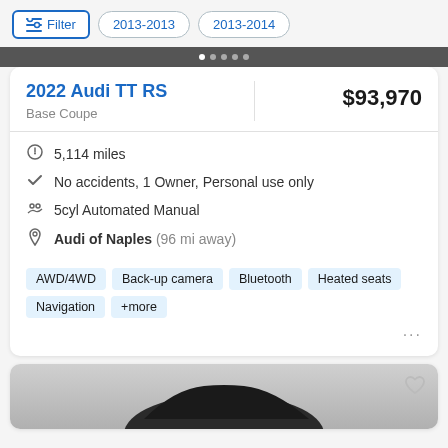Filter  2013-2013  2013-2014
[Figure (screenshot): Dark image strip with navigation dots]
2022 Audi TT RS
$93,970
Base Coupe
5,114 miles
No accidents, 1 Owner, Personal use only
5cyl Automated Manual
Audi of Naples (96 mi away)
AWD/4WD  Back-up camera  Bluetooth  Heated seats  Navigation  +more
[Figure (photo): Partial view of a dark colored car (second listing card)]